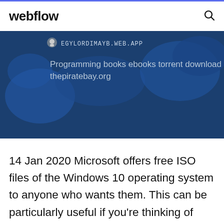webflow
[Figure (screenshot): Screenshot of a webflow-hosted website egylordimayb.web.app showing a dark blue map background with the text 'Programming books ebooks torrent download thepiratebay.org']
14 Jan 2020 Microsoft offers free ISO files of the Windows 10 operating system to anyone who wants them. This can be particularly useful if you're thinking of  You can also download it from here. Previously Windows 7 / 8 / 10. Windows Download link: 32-bit & 64-